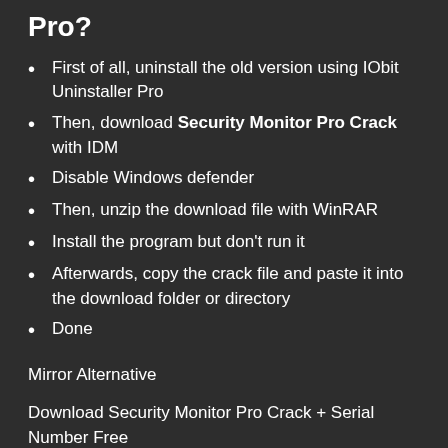Pro?
First of all, uninstall the old version using IObit Uninstaller Pro
Then, download Security Monitor Pro Crack with IDM
Disable Windows defender
Then, unzip the download file with WinRAR
Install the program but don't run it
Afterwards, copy the crack file and paste it into the download folder or directory
Done
Mirror Alternative
Download Security Monitor Pro Crack + Serial Number Free